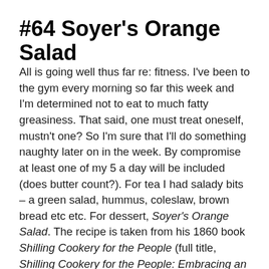#64 Soyer's Orange Salad
All is going well thus far re: fitness. I've been to the gym every morning so far this week and I'm determined not to eat to much fatty greasiness. That said, one must treat oneself, mustn't one? So I'm sure that I'll do something naughty later on in the week. By compromise at least one of my 5 a day will be included (does butter count?). For tea I had salady bits – a green salad, hummus, coleslaw, brown bread etc etc. For dessert, Soyer's Orange Salad. The recipe is taken from his 1860 book Shilling Cookery for the People (full title, Shilling Cookery for the People: Embracing an Entirely New System of Plain Cookery and Domestic Economy). You can still buy it as a paperback. Odd though that there's an orange recipe, as they were pretty expensive up until post-war times. Also it contains Madeira wine.